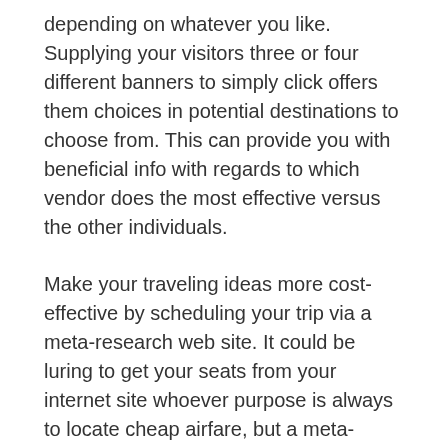depending on whatever you like. Supplying your visitors three or four different banners to simply click offers them choices in potential destinations to choose from. This can provide you with beneficial info with regards to which vendor does the most effective versus the other individuals.
Make your traveling ideas more cost-effective by scheduling your trip via a meta-research web site. It could be luring to get your seats from your internet site whoever purpose is always to locate cheap airfare, but a meta-research website seems via a variety of airlines and vacation booking websites concurrently. It is going to then redirect one to the site which includes the price you desire, helping you save funds.
Be involved in loyalty programs if you are a frequent tourist. You might not predict having the capacity to cash in, however these courses frequently accumulate